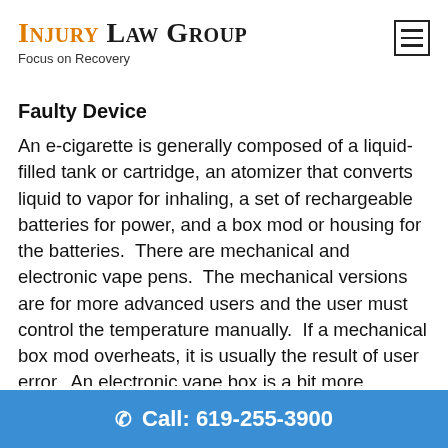Injury Law Group — Focus on Recovery
Faulty Device
An e-cigarette is generally composed of a liquid-filled tank or cartridge, an atomizer that converts liquid to vapor for inhaling, a set of rechargeable batteries for power, and a box mod or housing for the batteries.  There are mechanical and electronic vape pens.  The mechanical versions are for more advanced users and the user must control the temperature manually.  If a mechanical box mod overheats, it is usually the result of user error.  An electronic vape box is a bit more
Call: 619-255-3900